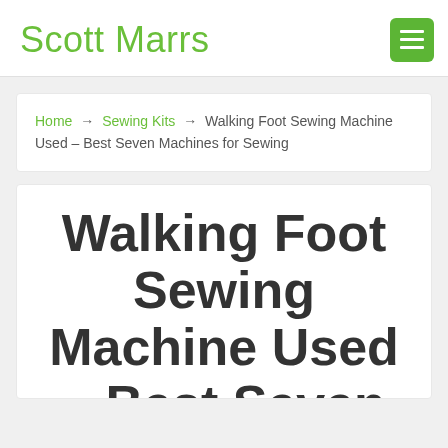Scott Marrs
Home → Sewing Kits → Walking Foot Sewing Machine Used – Best Seven Machines for Sewing
Walking Foot Sewing Machine Used – Best Seven